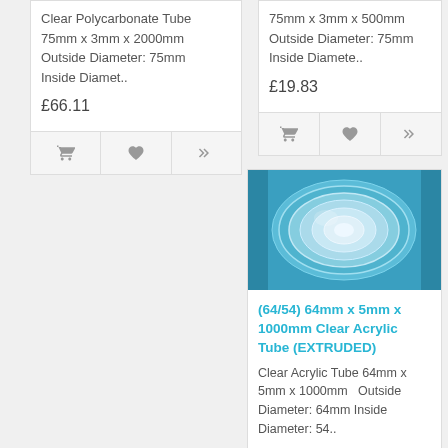Clear Polycarbonate Tube 75mm x 3mm x 2000mm Outside Diameter: 75mm Inside Diamet..
£66.11
75mm x 3mm x 500mm Outside Diameter: 75mm Inside Diamete..
£19.83
[Figure (photo): Photo of a clear acrylic tube end-on, showing circular cross-section with concentric rings, on a blue background]
(64/54) 64mm x 5mm x 1000mm Clear Acrylic Tube (EXTRUDED)
Clear Acrylic Tube 64mm x 5mm x 1000mm  Outside Diameter: 64mm Inside Diameter: 54..